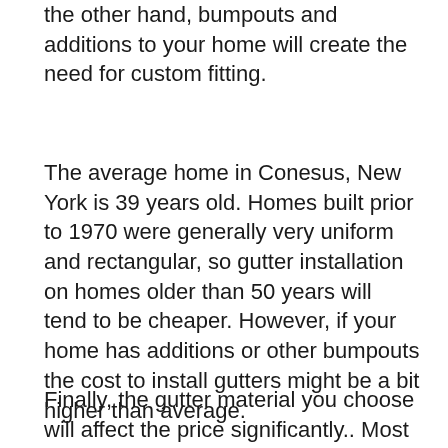the other hand, bumpouts and additions to your home will create the need for custom fitting.
The average home in Conesus, New York is 39 years old. Homes built prior to 1970 were generally very uniform and rectangular, so gutter installation on homes older than 50 years will tend to be cheaper. However, if your home has additions or other bumpouts the cost to install gutters might be a bit higher than average.
Finally, the gutter material you choose will affect the price significantly.. Most homeowners in Conesus choose their